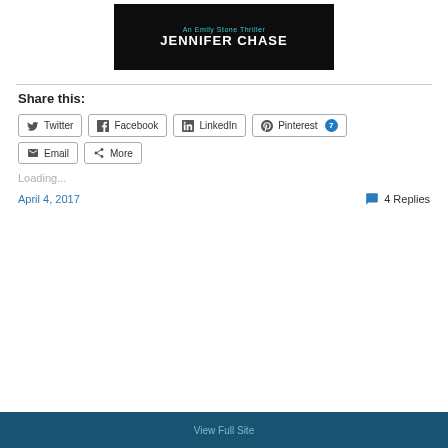[Figure (illustration): Book cover for 'An Emily Stone Thriller' by Jennifer Chase, dark background with teal and white text]
Share this:
[Figure (screenshot): Social share buttons: Twitter, Facebook, LinkedIn, Pinterest (7), Email, More]
Loading...
April 4, 2017
4 Replies
View Full Site